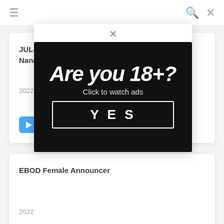≡  🔍 ✕
JUL-864 Former Local Station Announcer Nanami Tan
2022
Play Trailer
EBOD Female Announcer
2022
Play Trailer
[Figure (screenshot): Age verification modal ad on black background. Large bold italic text reads 'Are you 18+?' with subtext 'Click to watch ads' and a YES button with white border. A close (×) button appears at the top center of the modal.]